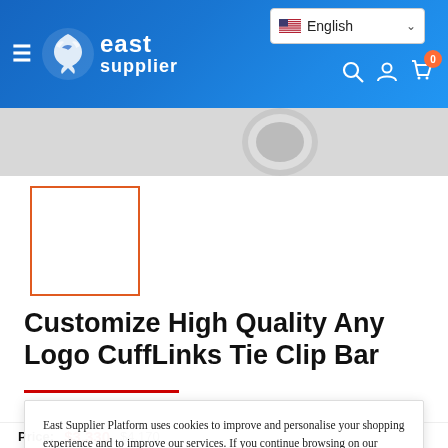[Figure (screenshot): East Supplier website header with blue gradient background, hamburger menu, dragon/phoenix logo with 'east supplier' text, English language selector dropdown, search/account/cart icons with cart badge showing 0]
[Figure (photo): Product image strip showing partial cufflink images on grey background]
[Figure (photo): Selected product thumbnail with orange border outline, white interior]
Customize High Quality Any Logo CuffLinks Tie Clip Bar
East Supplier Platform uses cookies to improve and personalise your shopping experience and to improve our services. If you continue browsing on our website, we will assume that you agree to the use of such cookies.
Accept
Price: $3,330  $4,170